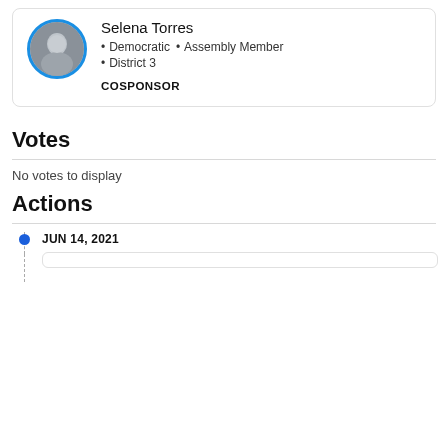[Figure (photo): Circular avatar photo of Selena Torres with blue border]
Selena Torres
Democratic  •  Assembly Member
District 3
COSPONSOR
Votes
No votes to display
Actions
JUN 14, 2021